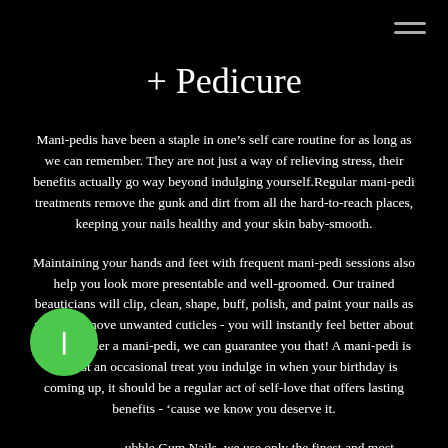+ Pedicure
Mani-pedis have been a staple in one’s self care routine for as long as we can remember. They are not just a way of relieving stress, their benefits actually go way beyond indulging yourself.Regular mani-pedi treatments remove the gunk and dirt from all the hard-to-reach places, keeping your nails healthy and your skin baby-smooth.
Maintaining your hands and feet with frequent mani-pedi sessions also help you look more presentable and well-groomed. Our trained beauticians will clip, clean, shape, buff, polish, and paint your nails as well as remove unwanted cuticles - you will instantly feel better about yourself after a mani-pedi, we can guarantee you that! A mani-pedi is not just an occasional treat you indulge in when your birthday is coming up, it should be a regular act of self-love that offers lasting benefits - ‘cause we know you deserve it.
At Bubble Gum Nails, we use only the finest and most exquisite products combined with impeccable service to give our customers the